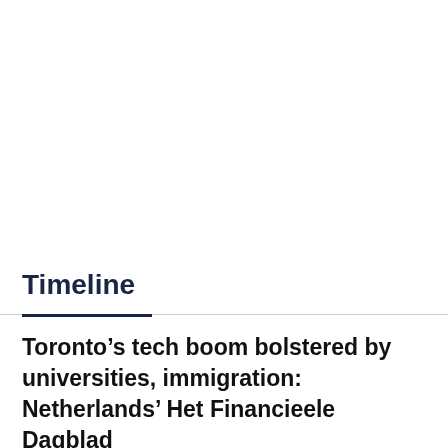Timeline
Toronto’s tech boom bolstered by universities, immigration: Netherlands’ Het Financieele Dagblad
6:04 AM AEST